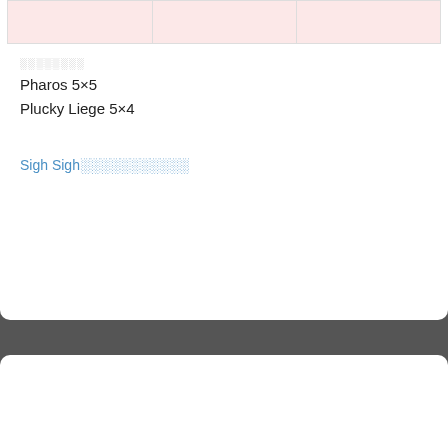|   |   |   |
░░░░░░░░
Pharos 5×5
Plucky Liege 5×4
Sigh Sigh░░░░░░░░░░░